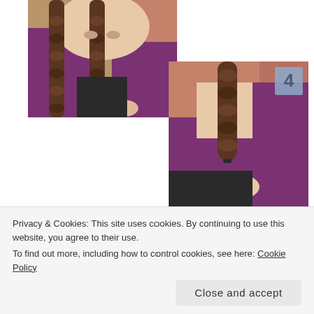[Figure (photo): Woman with long braided dark hair, wearing a purple/magenta top, looking down at her hands working on the braid. Brick wall background.]
[Figure (photo): Close-up of a braided hair tail being held at the bottom by a woman's hand, with a thin hair tie around it. Purple top and brick wall background. Number '4' label in upper right corner.]
Privacy & Cookies: This site uses cookies. By continuing to use this website, you agree to their use.
To find out more, including how to control cookies, see here: Cookie Policy
Close and accept
the hairline to the top of your ear, twisting and